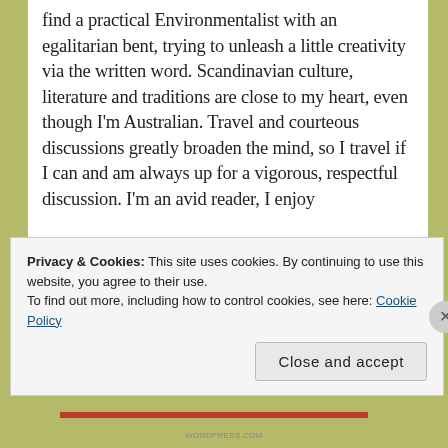find a practical Environmentalist with an egalitarian bent, trying to unleash a little creativity via the written word. Scandinavian culture, literature and traditions are close to my heart, even though I'm Australian. Travel and courteous discussions greatly broaden the mind, so I travel if I can and am always up for a vigorous, respectful discussion. I'm an avid reader, I enjoy
Privacy & Cookies: This site uses cookies. By continuing to use this website, you agree to their use.
To find out more, including how to control cookies, see here: Cookie Policy
Close and accept